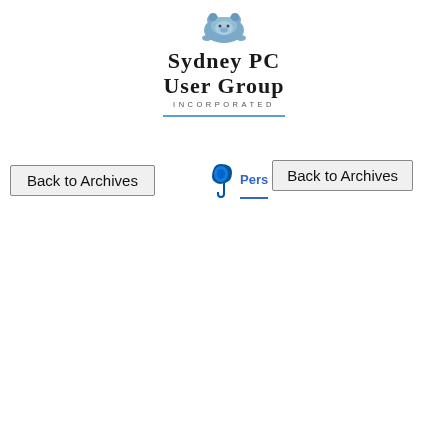[Figure (logo): Sydney PC User Group Incorporated logo with a bear/animal illustration above the text 'Sydney PC User Group Incorporated']
Back to Archives
[Figure (logo): Telstra logo (blue T shape) followed by partial blue text 'Pers...' and a 'Back to Archives' button]